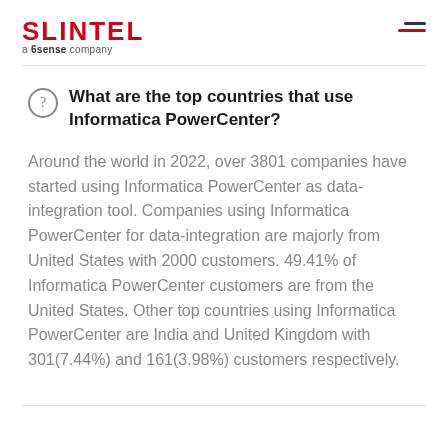SLINTEL a 6sense company
What are the top countries that use Informatica PowerCenter?
Around the world in 2022, over 3801 companies have started using Informatica PowerCenter as data-integration tool. Companies using Informatica PowerCenter for data-integration are majorly from United States with 2000 customers. 49.41% of Informatica PowerCenter customers are from the United States. Other top countries using Informatica PowerCenter are India and United Kingdom with 301(7.44%) and 161(3.98%) customers respectively.